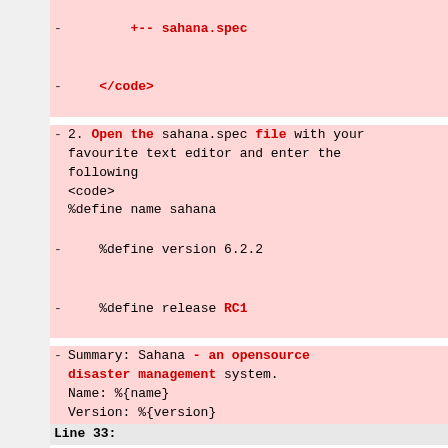+-- sahana.spec
</code>
2. Open the sahana.spec file with your favourite text editor and enter the following
<code>
%define name sahana
%define version 6.2.2
%define release RC1
Summary: Sahana - an opensource disaster management system.
Name: %{name}
Version: %{version}
Line 33:
Vendor: Lanka Software Foundation
URL: http://www.opensource.lk
License: GPL
Group: Software/Disaster Management
Prefix: %{_prefix}
BuildRoot: /tmp/sahana-rpm
requires: httpd >= 2.0, mysql-server >= 5.0, mysql >= 5.0, php-mysql >= 5.0, php >= 5.0, php-gd >= 5.0, php5-gettext >= 5.0